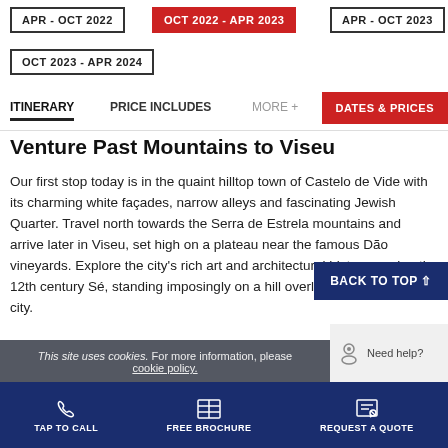APR - OCT 2022
OCT 2022 - APR 2023
APR - OCT 2023
OCT 2023 - APR 2024
ITINERARY | PRICE INCLUDES | MORE + | DATES & PRICES
Venture Past Mountains to Viseu
Our first stop today is in the quaint hilltop town of Castelo de Vide with its charming white façades, narrow alleys and fascinating Jewish Quarter. Travel north towards the Serra de Estrela mountains and arrive later in Viseu, set high on a plateau near the famous Dão vineyards. Explore the city's rich art and architectural history, seeing the 12th century Sé, standing imposingly on a hill overlooking the entire city.
BACK TO TOP
This site uses cookies. For more information, please cookie policy.
Need help?
TAP TO CALL | FREE BROCHURE | REQUEST A QUOTE